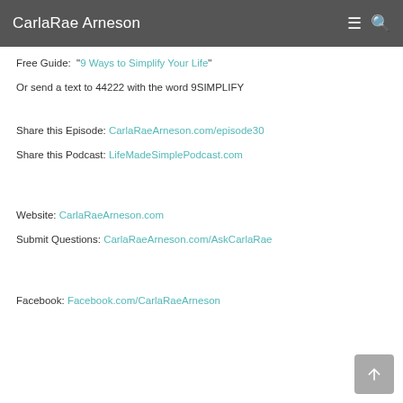CarlaRae Arneson
Free Guide:  "9 Ways to Simplify Your Life"
Or send a text to 44222 with the word 9SIMPLIFY
Share this Episode: CarlaRaeArneson.com/episode30
Share this Podcast: LifeMadeSimplePodcast.com
Website: CarlaRaeArneson.com
Submit Questions: CarlaRaeArneson.com/AskCarlaRae
Facebook: Facebook.com/CarlaRaeArneson